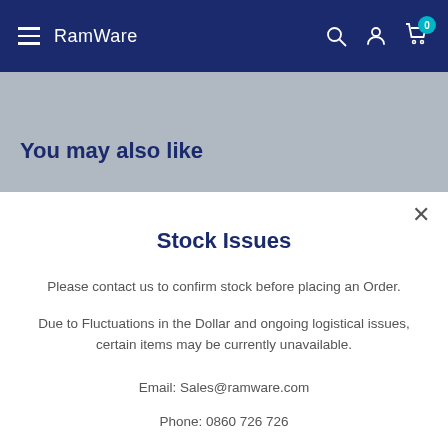RamWare
You may also like
Stock Issues
Please contact us to confirm stock before placing an Order.
Due to Fluctuations in the Dollar and ongoing logistical issues, certain items may be currently unavailable.
Email: Sales@ramware.com
Phone: 0860 726 726